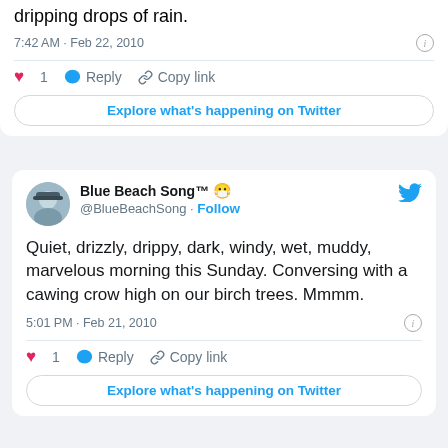dripping drops of rain.
7:42 AM · Feb 22, 2010
1  Reply  Copy link
Explore what's happening on Twitter
Blue Beach Song™ 😷 @BlueBeachSong · Follow
Quiet, drizzly, drippy, dark, windy, wet, muddy, marvelous morning this Sunday. Conversing with a cawing crow high on our birch trees. Mmmm.
5:01 PM · Feb 21, 2010
1  Reply  Copy link
Explore what's happening on Twitter